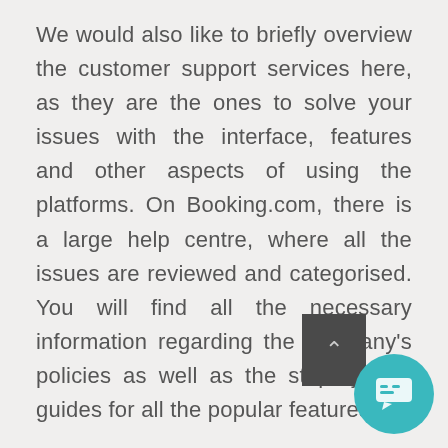We would also like to briefly overview the customer support services here, as they are the ones to solve your issues with the interface, features and other aspects of using the platforms. On Booking.com, there is a large help centre, where all the issues are reviewed and categorised. You will find all the necessary information regarding the company's policies as well as the step-by-step guides for all the popular features.
Airbnb also has a help centre, where the main issues are reviewed and